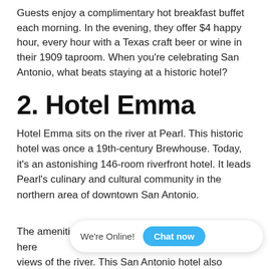Guests enjoy a complimentary hot breakfast buffet each morning. In the evening, they offer $4 happy hour, every hour with a Texas craft beer or wine in their 1909 taproom. When you're celebrating San Antonio, what beats staying at a historic hotel?
2. Hotel Emma
Hotel Emma sits on the river at Pearl. This historic hotel was once a 19th-century Brewhouse. Today, it's an astonishing 146-room riverfront hotel. It leads Pearl's culinary and cultural community in the northern area of downtown San Antonio.
The amenities here views of the river. This San Antonio hotel also